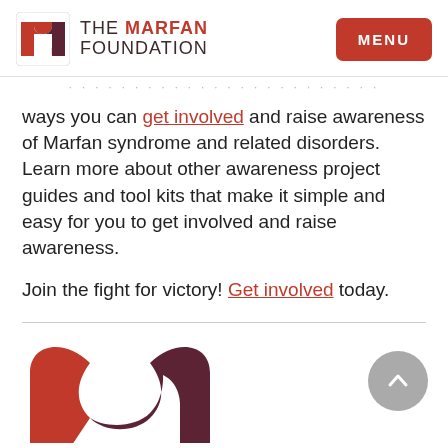THE MARFAN FOUNDATION | MENU
ways you can get involved and raise awareness of Marfan syndrome and related disorders. Learn more about other awareness project guides and tool kits that make it simple and easy for you to get involved and raise awareness.
Join the fight for victory! Get involved today.
[Figure (logo): The Marfan Foundation logo — large version at bottom of page, partially cropped]